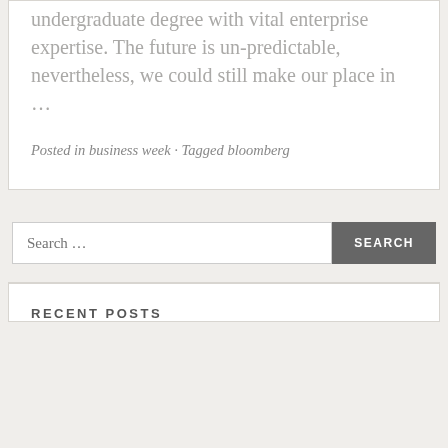undergraduate degree with vital enterprise expertise. The future is un-predictable, nevertheless, we could still make our place in …
Posted in business week · Tagged bloomberg
Search …
RECENT POSTS